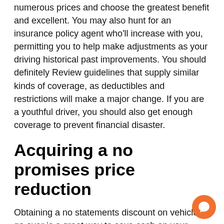numerous prices and choose the greatest benefit and excellent. You may also hunt for an insurance policy agent who'll increase with you, permitting you to help make adjustments as your driving historical past improvements. You should definitely Review guidelines that supply similar kinds of coverage, as deductibles and restrictions will make a major change. If you are a youthful driver, you should also get enough coverage to prevent financial disaster.
Acquiring a no promises price reduction
Obtaining a no statements discount on vehicle go over is a great way to save cash on your rates, and it may be worth inquiring your insurance company how to apply it. Depending upon the insurance provider, the price cut is often truly worth anywhere from 30% following a 12 months to as many as 65% following 5 years. Keep in mind that For th who have an accident, you can expect to lose two many